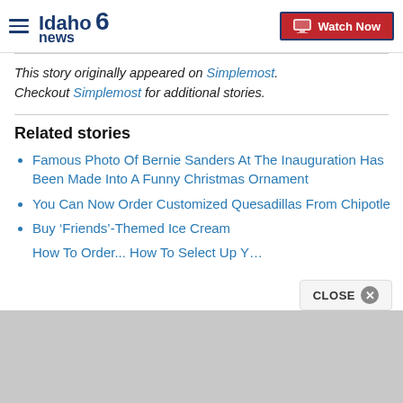Idaho News 6 — Watch Now
This story originally appeared on Simplemost. Checkout Simplemost for additional stories.
Related stories
Famous Photo Of Bernie Sanders At The Inauguration Has Been Made Into A Funny Christmas Ornament
You Can Now Order Customized Quesadillas From Chipotle
Buy 'Friends'-Themed Ice Cream
How To Order... How To Select Up Y…